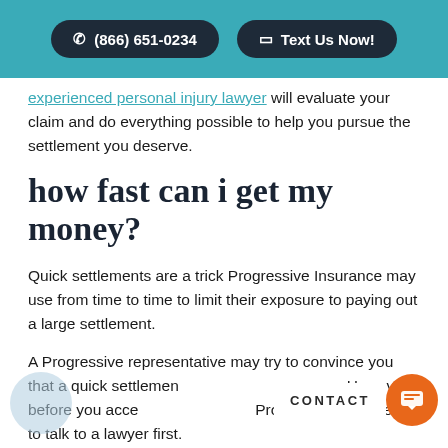(866) 651-0234 | Text Us Now!
experienced personal injury lawyer will evaluate your claim and do everything possible to help you pursue the settlement you deserve.
how fast can i get my money?
Quick settlements are a trick Progressive Insurance may use from time to time to limit their exposure to paying out a large settlement.
A Progressive representative may try to convince you that a quick settlement is in your best interest. However, before you accept any offer from Progressive, you need to talk to a lawyer first.